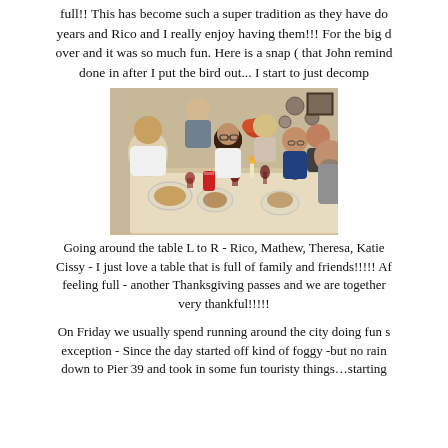full!! This has become such a super tradition as they have done for years and Rico and I really enjoy having them!!! For the big day … over and it was so much fun. Here is a snap ( that John reminde… done in after I put the bird out... I start to just decomp…
[Figure (photo): Group of people sitting around a dining table with food and drinks for Thanksgiving dinner, indoors.]
Going around the table L to R - Rico, Mathew, Theresa, Katie… Cissy - I just love a table that is full of family and friends!!!!! Af… feeling full - another Thanksgiving passes and we are together… very thankful!!!!!
On Friday we usually spend running around the city doing fun s… exception - Since the day started off kind of foggy -but no rain… down to Pier 39 and took in some fun touristy things…starting…